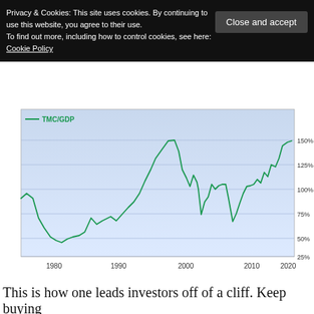Privacy & Cookies: This site uses cookies. By continuing to use this website, you agree to their use. To find out more, including how to control cookies, see here: Cookie Policy
[Figure (continuous-plot): Line chart showing TMC/GDP ratio from approximately 1975 to 2022. The line starts around 80% in 1975, drops to about 35% in the early 1980s, rises gradually through the 1980s and 1990s, peaks at approximately 150% around 2000, drops to about 75% in 2002-2003, partially recovers, drops again to about 55% in 2009, then rises steeply to approximately 150% by 2022.]
This is how one leads investors off of a cliff. Keep buying